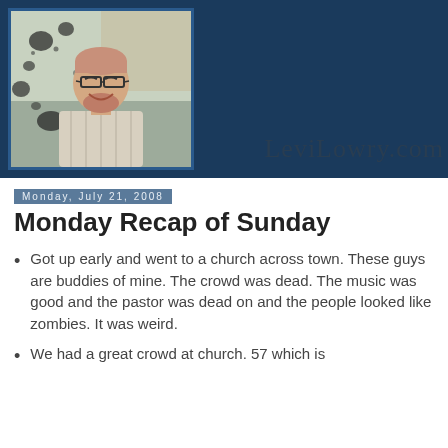[Figure (photo): Blog header banner with dark blue background. Left side shows a photo of a smiling heavyset man with short hair, glasses, and a beard wearing a plaid shirt. Right side shows 'LeviLowry.com' in serif font.]
Monday, July 21, 2008
Monday Recap of Sunday
Got up early and went to a church across town. These guys are buddies of mine. The crowd was dead. The music was good and the pastor was dead on and the people looked like zombies. It was weird.
We had a great crowd at church. 57 which is